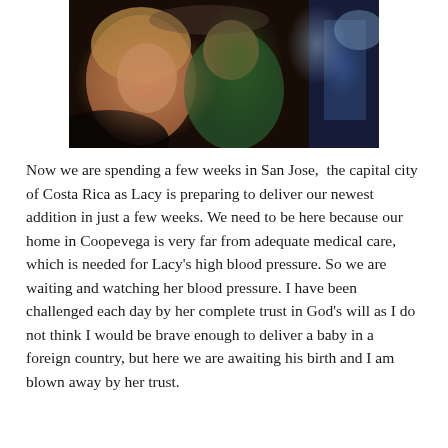[Figure (photo): A photograph of a woman with blonde hair smiling next to a boy wearing a green shirt, with another child partially visible in the background]
Now we are spending a few weeks in San Jose, the capital city of Costa Rica as Lacy is preparing to deliver our newest addition in just a few weeks. We need to be here because our home in Coopevega is very far from adequate medical care, which is needed for Lacy's high blood pressure. So we are waiting and watching her blood pressure. I have been challenged each day by her complete trust in God's will as I do not think I would be brave enough to deliver a baby in a foreign country, but here we are awaiting his birth and I am blown away by her trust.